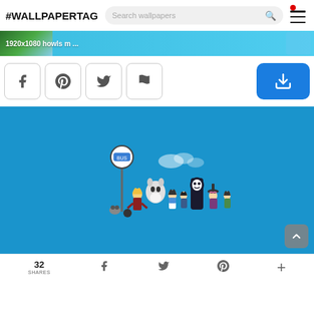#WALLPAPERTAG
[Figure (screenshot): Website header with #WALLPAPERTAG branding, search bar, and hamburger menu with red notification dot]
[Figure (screenshot): Banner image showing 1920x1080 howls m... text on a blue/green landscape thumbnail]
[Figure (screenshot): Social sharing buttons: Facebook, Pinterest, Twitter, Flag; and a blue download button]
[Figure (illustration): Blue wallpaper featuring chibi anime characters from Studio Ghibli at a bus stop sign, including No-Face, Howl, Totoro, and others]
32 SHARES